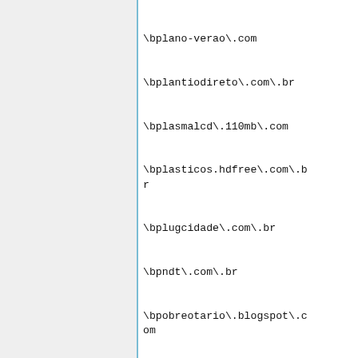\bplano-verao\.com
\bplantiodireto\.com\.br
\bplasmalcd\.110mb\.com
\bplasticos.hdfree\.com\.br
\bplugcidade\.com\.br
\bpndt\.com\.br
\bpobreotario\.blogspot\.com
\bpodermasculino\.com\.br
\bpodiatryworldwide\.com
\bpokemondarkay\.blogspot\.com
\bpokenewsonline\.blogspot\.com
\bpolegar\.k6\.com\.br
\bpontagrossa\.com\.br
\bpontagrossacvb\.com\.br
\bpontoperdido\.blogspot\.com
\bpopart-esfh\.com
\bpornotube\.com
\bporntune\.net
\bportabilidade\.com\.br
\bportal1000\.com\.br